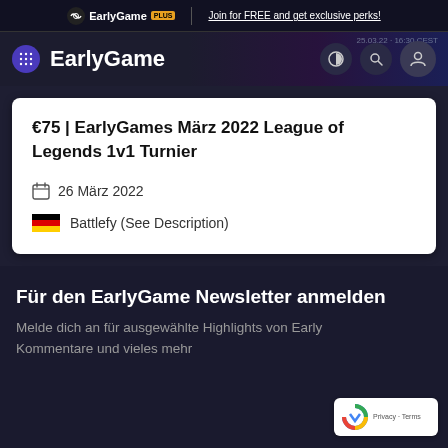EarlyGame PLUS | Join for FREE and get exclusive perks!
EarlyGame
€75 | EarlyGames März 2022 League of Legends 1v1 Turnier
26 März 2022
Battlefy (See Description)
Für den EarlyGame Newsletter anmelden
Melde dich an für ausgewählte Highlights von Early Kommentare und vieles mehr